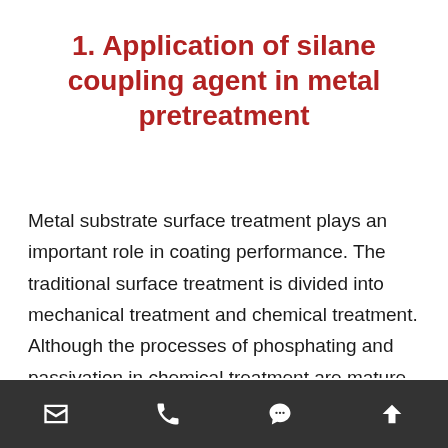1. Application of silane coupling agent in metal pretreatment
Metal substrate surface treatment plays an important role in coating performance. The traditional surface treatment is divided into mechanical treatment and chemical treatment. Although the processes of phosphating and passivation in chemical treatment are mature, the cost of wastewater discharge and treatment is high. At present, the pretreatment of metal with silane coupling agent and phosphorus free film can not only improve the adhesion and anti-corrosion performance between the coating and